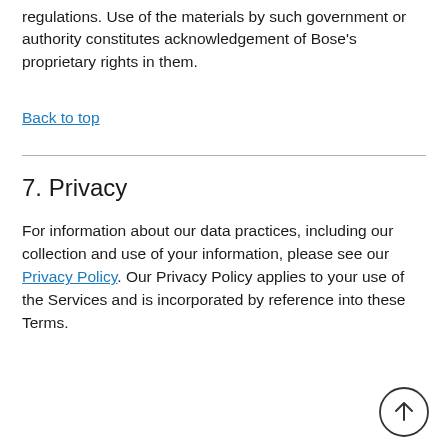regulations. Use of the materials by such government or authority constitutes acknowledgement of Bose's proprietary rights in them.
Back to top
7. Privacy
For information about our data practices, including our collection and use of your information, please see our Privacy Policy. Our Privacy Policy applies to your use of the Services and is incorporated by reference into these Terms.